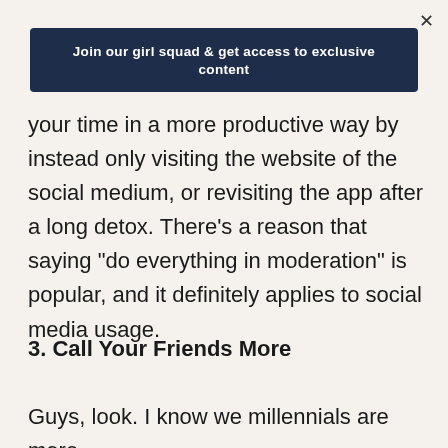Join our girl squad & get access to exclusive content
your time in a more productive way by instead only visiting the website of the social medium, or revisiting the app after a long detox. There's a reason that saying "do everything in moderation" is popular, and it definitely applies to social media usage.
3. Call Your Friends More
Guys, look. I know we millennials are more